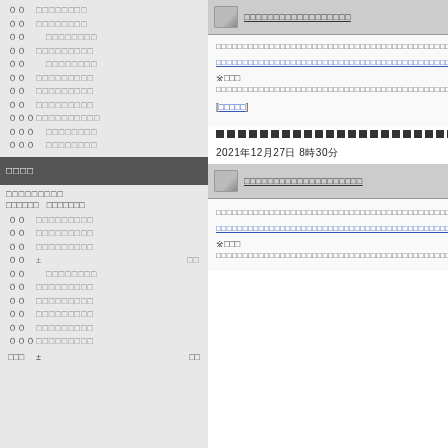００　□□□□□□□□
００　□□□□□□□□
００　　□□□□□□□□
００　□□□□□□□□□
００　　□□□□□□□□
００　□□□□□□□□□
００　□□□□□□□□□
００　□□□□□□□□□
０００　□□□□□□□□□□
０００　　□□□□□□□□
０００　　□□□□□□□□
□□□□
□□□□□□□□□
□□□□□□　□□□□□□□
００　□□□□□□□□□
００　□□□□□□□□□
００　□□□□□□□□□
００　±　　　　　　□□
００　　□□□□□□□□
００　□□□□□□□□□
００　□□□□□□□□□
００　□□□□□□□□□
００　□□□□□□□□□
０００　□□□□□□□□□
□□□□□□□□□□□□□□□□□□□□□□□□□□□□□□□□□□□□□□□□□□□□
□□□□□□□□□□□□□□□□□□□□□□□□□□□□□□□□□□□□□□□□□□□□□□□
※□□□
□□□□□□□□□□□□□□□□□□□□□□□□□□□□□□□□□□□□□□□□□□□□□□□
[□□□□□]
2021年12月27日 8時30分
□□□□□□□□□□□□□□□□□□□□□□□□□□□□□□□□□□□□□□□□□□□□□
□□□□□□□□□□□□□□□□□□□□□□□□□□□□□□□□□□□□□□□□□□□□□□□
※□□□
□□□□□□□□□□□□□□□□□□□□□□□□□□□□□□□□□□□□□□□□□□□□□□□